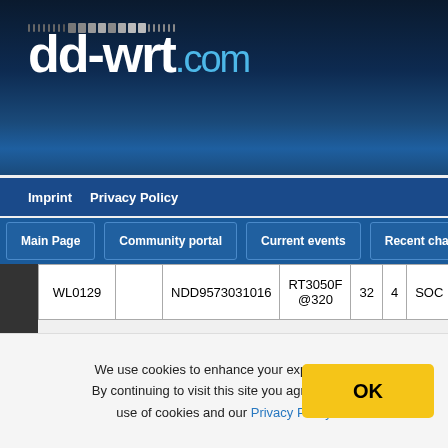[Figure (logo): dd-wrt.com logo on dark blue gradient background with dot pattern]
Imprint   Privacy Policy
Main Page   Community portal   Current events   Recent changes
| WL0129 |  | NDD9573031016 | RT3050F @320 | 32 | 4 | SOC |
Meraki
| Model | H.W rev. | FCC ID | Platform & Frequency [MHz] | RAM [MB] | Flash [MB] | Wireless NIC |
| --- | --- | --- | --- | --- | --- | --- |
We use cookies to enhance your experience. By continuing to visit this site you agree to our use of cookies and our Privacy Policy